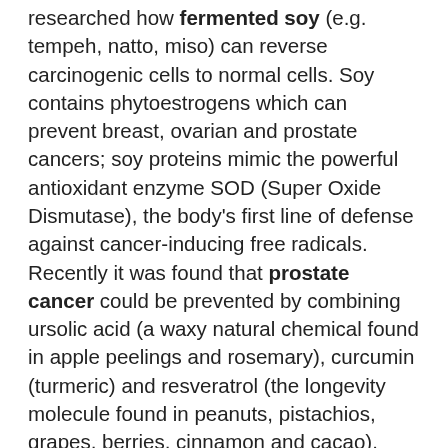researched how fermented soy (e.g. tempeh, natto, miso) can reverse carcinogenic cells to normal cells. Soy contains phytoestrogens which can prevent breast, ovarian and prostate cancers; soy proteins mimic the powerful antioxidant enzyme SOD (Super Oxide Dismutase), the body's first line of defense against cancer-inducing free radicals. Recently it was found that prostate cancer could be prevented by combining ursolic acid (a waxy natural chemical found in apple peelings and rosemary), curcumin (turmeric) and resveratrol (the longevity molecule found in peanuts, pistachios, grapes, berries, cinnamon and cacao). These 3 ingredients work together to block the cancer cells accessing glutamine, which cancer cells need to break down nutrients and get energy. Vitamin D is another very important nutrient which is often overlooked but which some studies have revealed can slash your cancer risk by